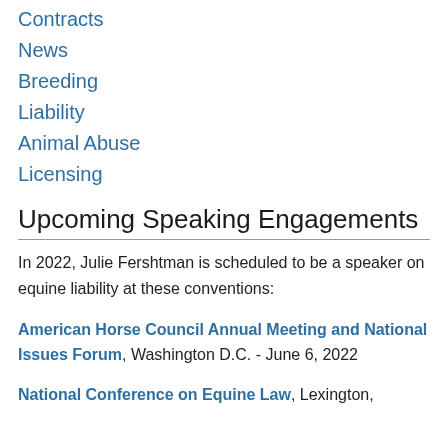Contracts
News
Breeding
Liability
Animal Abuse
Licensing
Upcoming Speaking Engagements
In 2022, Julie Fershtman is scheduled to be a speaker on equine liability at these conventions:
American Horse Council Annual Meeting and National Issues Forum, Washington D.C. - June 6, 2022
National Conference on Equine Law, Lexington,